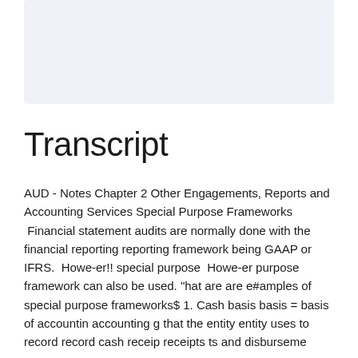[Figure (other): Light blue/grey rectangular placeholder image at the top of the page]
Transcript
AUD - Notes Chapter 2 Other Engagements, Reports and Accounting Services Special Purpose Frameworks  Financial statement audits are normally done with the financial reporting reporting framework being GAAP or IFRS.  However!! special purpose  However purpose framework can also be used. "hat are are e#amples of special purpose frameworks$ 1. Cash basis basis = basis of accountin accounting g that the entity entity uses to record record cash receip receipts ts and disburseme disbursements ts 2. To To Tax basis basis = of